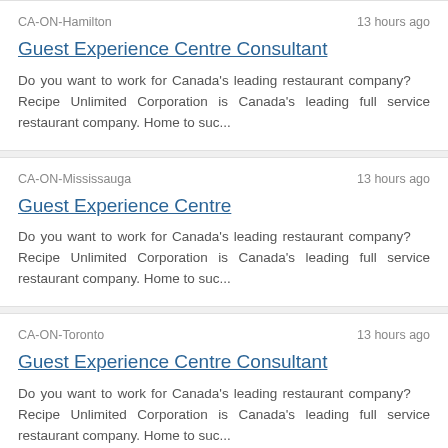CA-ON-Hamilton
13 hours ago
Guest Experience Centre Consultant
Do you want to work for Canada's leading restaurant company?    Recipe Unlimited Corporation is Canada's leading full service restaurant company. Home to suc...
CA-ON-Mississauga
13 hours ago
Guest Experience Centre
Do you want to work for Canada's leading restaurant company?    Recipe Unlimited Corporation is Canada's leading full service restaurant company. Home to suc...
CA-ON-Toronto
13 hours ago
Guest Experience Centre Consultant
Do you want to work for Canada's leading restaurant company?    Recipe Unlimited Corporation is Canada's leading full service restaurant company. Home to suc...